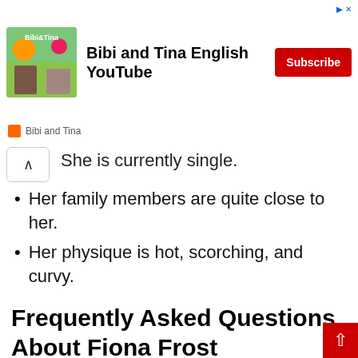[Figure (screenshot): Advertisement banner for 'Bibi and Tina English YouTube' channel with colorful cartoon image, bold title, Subscribe button, and Bibi and Tina branding.]
She is currently single.
Her family members are quite close to her.
Her physique is hot, scorching, and curvy.
Frequently Asked Questions About Fiona Frost
Who is Fiona Frost?
Fiona Frost is an popular actress, adult model and social media personality. She is well known on AV video webs